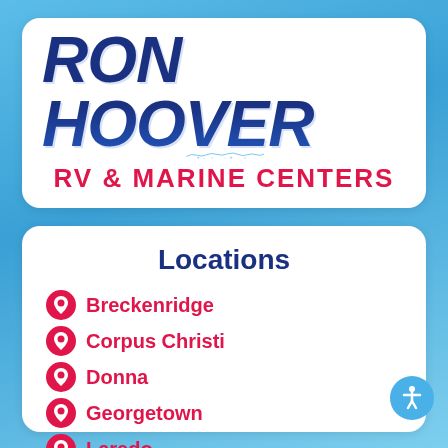[Figure (logo): Ron Hoover RV & Marine Centers logo with wave/water design]
Locations
Breckenridge
Corpus Christi
Donna
Georgetown
Laredo